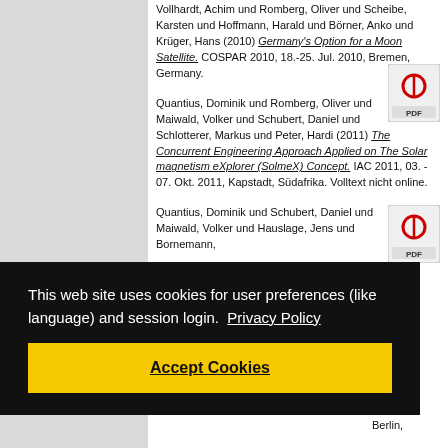Vollhardt, Achim und Romberg, Oliver und Scheibe, Karsten und Hoffmann, Harald und Börner, Anko und Krüger, Hans (2010) Germany's Option for a Moon Satellite. COSPAR 2010, 18.-25. Jul. 2010, Bremen, Germany.
Quantius, Dominik und Romberg, Oliver und Maiwald, Volker und Schubert, Daniel und Schlotterer, Markus und Peter, Hardi (2011) The Concurrent Engineering Approach Applied on The Solar magnetism eXplorer (SolmeX) Concept. IAC 2011, 03. - 07. Okt. 2011, Kapstadt, Südafrika. Volltext nicht online.
Quantius, Dominik und Schubert, Daniel und Maiwald, Volker und Hauslage, Jens und Bornemann,
This web site uses cookies for user preferences (like language) and session login. Privacy Policy
Accept Cookies